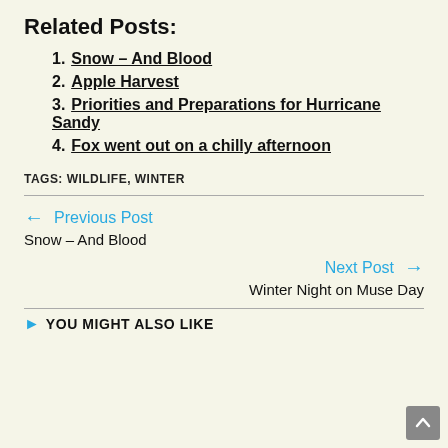Related Posts:
1. Snow – And Blood
2. Apple Harvest
3. Priorities and Preparations for Hurricane Sandy
4. Fox went out on a chilly afternoon
TAGS: WILDLIFE, WINTER
← Previous Post
Snow – And Blood
Next Post →
Winter Night on Muse Day
YOU MIGHT ALSO LIKE